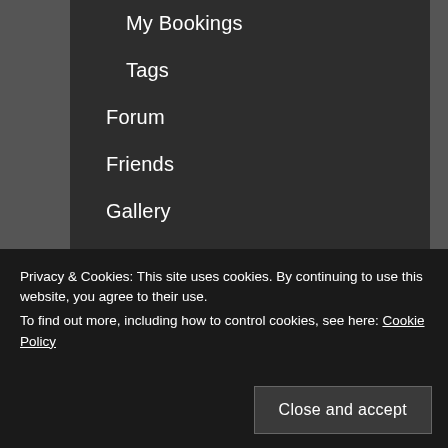My Bookings
Tags
Forum
Friends
Gallery
Help and Advice in Dealing with ATOS
Home
Privacy & Cookies: This site uses cookies. By continuing to use this website, you agree to their use.
To find out more, including how to control cookies, see here: Cookie Policy
Close and accept